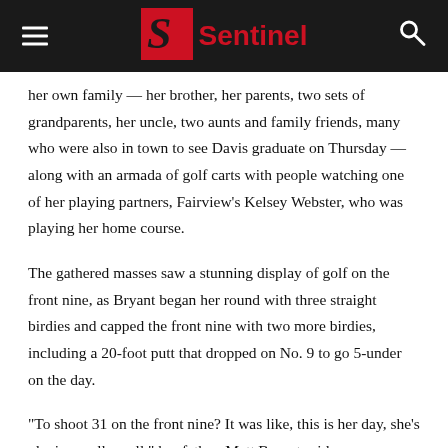Sentinel
her own family — her brother, her parents, two sets of grandparents, her uncle, two aunts and family friends, many who were also in town to see Davis graduate on Thursday — along with an armada of golf carts with people watching one of her playing partners, Fairview's Kelsey Webster, who was playing her home course.
The gathered masses saw a stunning display of golf on the front nine, as Bryant began her round with three straight birdies and capped the front nine with two more birdies, including a 20-foot putt that dropped on No. 9 to go 5-under on the day.
“To shoot 31 on the front nine? It was like, this is her day, she’s playing really well,” her father, Matt Bryant said.
At that point, Emma Bryant had surged to a six-stroke lead over…